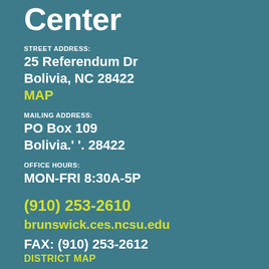Center
STREET ADDRESS:
25 Referendum Dr
Bolivia, NC 28422
MAP
MAILING ADDRESS:
PO Box 109
Bolivia.' '. 28422
OFFICE HOURS:
MON-FRI 8:30A-5P
(910) 253-2610
brunswick.ces.ncsu.edu
FAX: (910) 253-2612
DISTRICT MAP
Our Mission